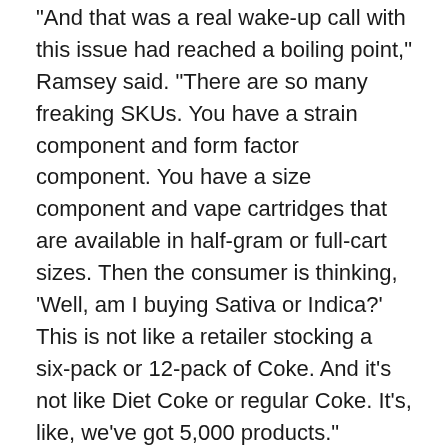“And that was a real wake-up call with this issue had reached a boiling point,” Ramsey said. “There are so many freaking SKUs. You have a strain component and form factor component. You have a size component and vape cartridges that are available in half-gram or full-cart sizes. Then the consumer is thinking, ‘Well, am I buying Sativa or Indica?’ This is not like a retailer stocking a six-pack or 12-pack of Coke. And it’s not like Diet Coke or regular Coke. It’s, like, we’ve got 5,000 products.”
“I don’t know, maybe Larry has a masochistic streak or something,” Ramsey says, laughing after listing the boxes Larry checks. “He’s a serial founder, and we’ve seen the advantages of that time and time again. He’s been at this problem as long, if not longer, than anyone else. And he has the ear of